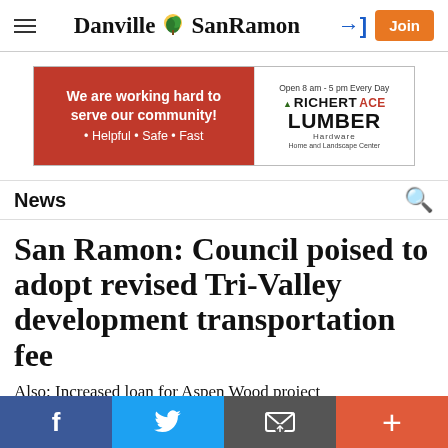Danville SanRamon — Join
[Figure (illustration): Advertisement banner for Richert Ace Lumber — red left panel: 'We are working hard to serve our community! • Helpful • Safe • Fast', white right panel: 'Open 8 am - 5 pm Every Day, RICHERT ACE LUMBER Hardware, Home and Landscape Center']
News
San Ramon: Council poised to adopt revised Tri-Valley development transportation fee
Also: Increased loan for Aspen Wood project